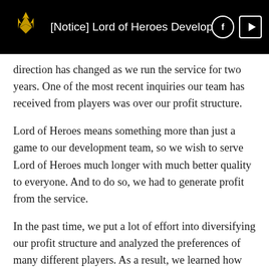[Notice] Lord of Heroes Developer
direction has changed as we run the service for two years. One of the most recent inquiries our team has received from players was over our profit structure.
Lord of Heroes means something more than just a game to our development team, so we wish to serve Lord of Heroes much longer with much better quality to everyone. And to do so, we had to generate profit from the service.
In the past time, we put a lot of effort into diversifying our profit structure and analyzed the preferences of many different players. As a result, we learned how some players around the world feel our current Hero